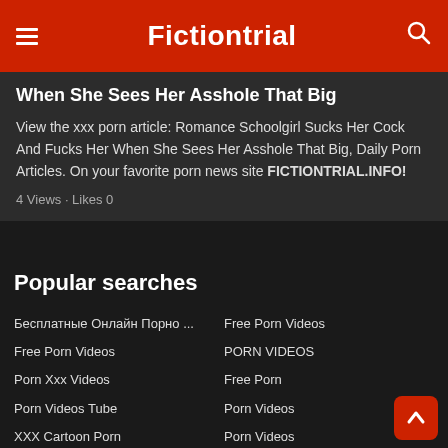Fictiontrial
When She Sees Her Asshole That Big
View the xxx porn article: Romance Schoolgirl Sucks Her Cock And Fucks Her When She Sees Her Asshole That Big, Daily Porn Articles. On your favorite porn news site FICTIONTRIAL.INFO!
4 Views · Likes 0
Popular searches
Бесплатные Онлайн Порно ...
Free Porn Videos
Porn Xxx Videos
Porn Videos Tube
XXX Cartoon Porn
Porno Videolar
Free Porn Videos
All Porno Movies
Porn Videos
Free Amateur Girlfriend Porn ...
Free Porn Videos
Free Porn Videos
PORN VIDEOS
Free Porn
Porn Videos
Porn Videos
Xxx Porn Videos
Free Asian Porn Videos
Hentai
Xxx Porn Videos
Porn Videos
Kostenloser Porno